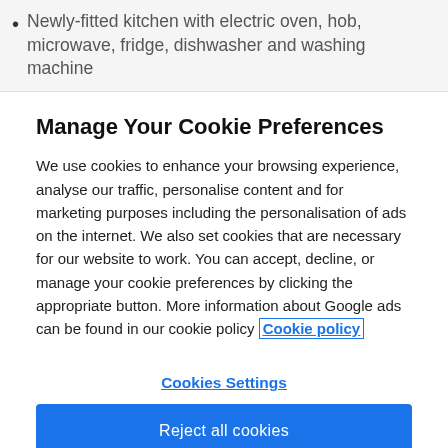Newly-fitted kitchen with electric oven, hob, microwave, fridge, dishwasher and washing machine
Manage Your Cookie Preferences
We use cookies to enhance your browsing experience, analyse our traffic, personalise content and for marketing purposes including the personalisation of ads on the internet. We also set cookies that are necessary for our website to work. You can accept, decline, or manage your cookie preferences by clicking the appropriate button. More information about Google ads can be found in our cookie policy Cookie policy
Cookies Settings
Reject all cookies
Accept all cookies